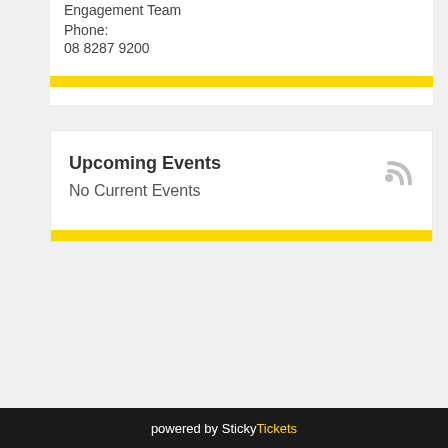Engagement Team
Phone:
08 8287 9200
Upcoming Events
No Current Events
powered by StickyTickets